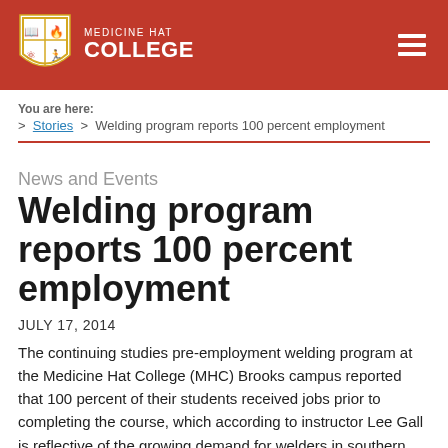MEDICINE HAT COLLEGE
You are here:
> Stories > Welding program reports 100 percent employment
News and Events
Welding program reports 100 percent employment
JULY 17, 2014
The continuing studies pre-employment welding program at the Medicine Hat College (MHC) Brooks campus reported that 100 percent of their students received jobs prior to completing the course, which according to instructor Lee Gall is reflective of the growing demand for welders in southern Alberta.